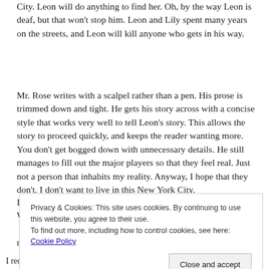City. Leon will do anything to find her. Oh, by the way Leon is deaf, but that won't stop him. Leon and Lily spent many years on the streets, and Leon will kill anyone who gets in his way.
Mr. Rose writes with a scalpel rather than a pen. His prose is trimmed down and tight. He gets his story across with a concise style that works very well to tell Leon's story. This allows the story to proceed quickly, and keeps the reader wanting more. You don't get bogged down with unnecessary details. He still manages to fill out the major players so that they feel real. Just not a person that inhabits my reality. Anyway, I hope that they don't. I don't want to live in this New York City.
Privacy & Cookies: This site uses cookies. By continuing to use this website, you agree to their use.
To find out more, including how to control cookies, see here: Cookie Policy
Close and accept
I received a Digital Review Copy from the publisher.